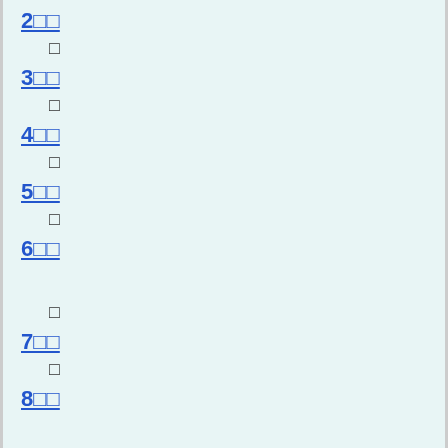2□□
□
3□□
□
4□□
□
5□□
□
6□□
□
7□□
□
8□□